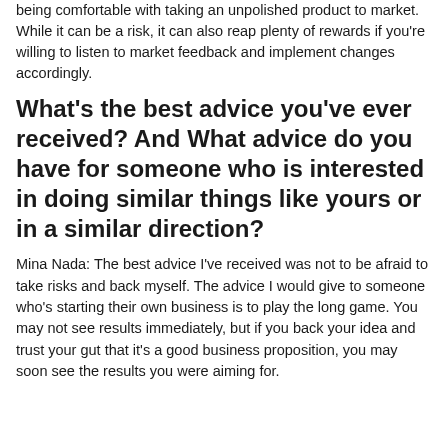being comfortable with taking an unpolished product to market. While it can be a risk, it can also reap plenty of rewards if you're willing to listen to market feedback and implement changes accordingly.
What's the best advice you've ever received? And What advice do you have for someone who is interested in doing similar things like yours or in a similar direction?
Mina Nada: The best advice I've received was not to be afraid to take risks and back myself. The advice I would give to someone who's starting their own business is to play the long game. You may not see results immediately, but if you back your idea and trust your gut that it's a good business proposition, you may soon see the results you were aiming for.